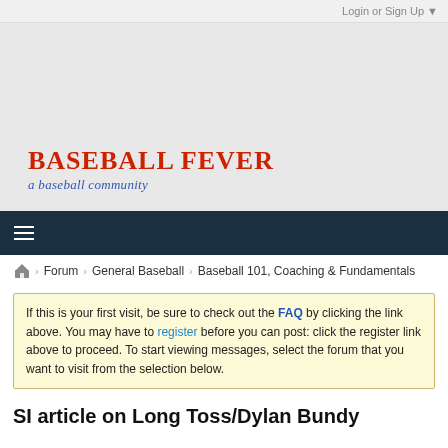Login or Sign Up ▼
[Figure (logo): Baseball Fever logo — red bold uppercase text 'BASEBALL FEVER' with blue italic cursive subtitle 'a baseball community' on a light gray banner background]
≡
🏠 › Forum › General Baseball › Baseball 101, Coaching & Fundamentals
If this is your first visit, be sure to check out the FAQ by clicking the link above. You may have to register before you can post: click the register link above to proceed. To start viewing messages, select the forum that you want to visit from the selection below.
SI article on Long Toss/Dylan Bundy